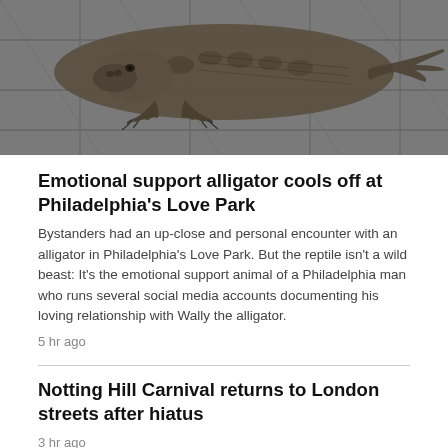[Figure (photo): Close-up photo of an alligator lying on grey stone/tile pavement, showing its rough textured skin, claws, and body from above]
Emotional support alligator cools off at Philadelphia's Love Park
Bystanders had an up-close and personal encounter with an alligator in Philadelphia's Love Park. But the reptile isn't a wild beast: It's the emotional support animal of a Philadelphia man who runs several social media accounts documenting his loving relationship with Wally the alligator.
5 hr ago
Notting Hill Carnival returns to London streets after hiatus
3 hr ago
'It will truly be missed,' Montreal bagel shops say